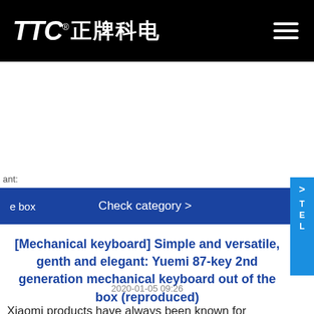TTC® 正牌科电
ant:
e box
Check category >
[Mechanical keyboard] Simple and versatile, genth and elegant: Yuemi 87-key 2nd generation mechanical keyboard out of the box (reproduced)
2020-01-05 09:26
Xiaomi products have always been known for